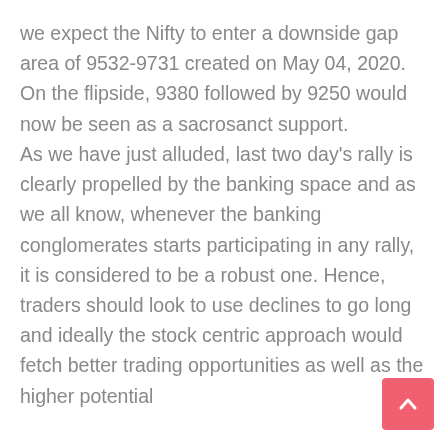we expect the Nifty to enter a downside gap area of 9532-9731 created on May 04, 2020. On the flipside, 9380 followed by 9250 would now be seen as a sacrosanct support. As we have just alluded, last two day's rally is clearly propelled by the banking space and as we all know, whenever the banking conglomerates starts participating in any rally, it is considered to be a robust one. Hence, traders should look to use declines to go long and ideally the stock centric approach would fetch better trading opportunities as well as the higher potential